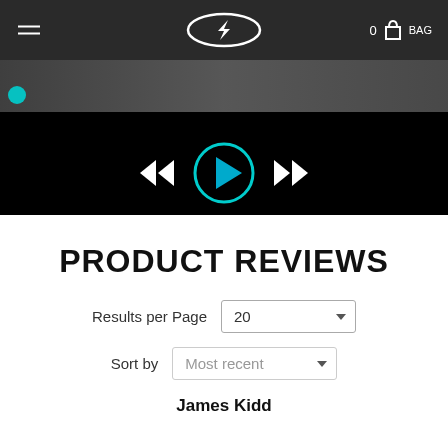Navigation bar with logo, hamburger menu, and bag icon (0 items)
[Figure (screenshot): Video player controls area showing rewind (<<), play button (circle with play triangle, cyan), and fast-forward (>>) controls on a black background]
PRODUCT REVIEWS
Results per Page  20
Sort by  Most recent
James Kidd